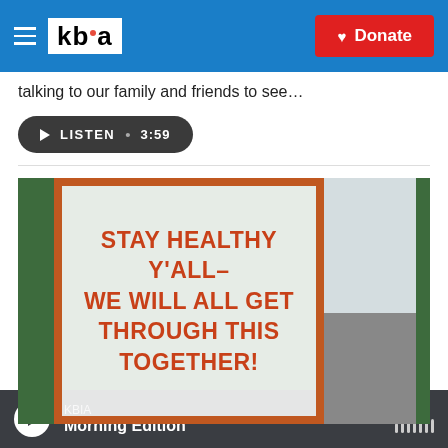[Figure (screenshot): KBIA radio website header navigation bar with hamburger menu, KBIA logo, and red Donate button on blue background]
talking to our family and friends to see…
LISTEN • 3:59
[Figure (photo): A storefront window with a sign reading STAY HEALTHY Y'ALL- WE WILL ALL GET THROUGH THIS TOGETHER! in orange/red bold text on white paper, visible through green-framed door with orange border]
KBIA
Morning Edition